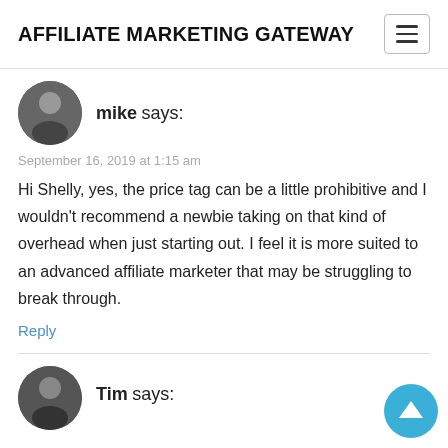AFFILIATE MARKETING GATEWAY
[Figure (photo): Circular avatar photo of commenter mike]
mike says:
September 16, 2019 at 1:15 am
Hi Shelly, yes, the price tag can be a little prohibitive and I wouldn’t recommend a newbie taking on that kind of overhead when just starting out. I feel it is more suited to an advanced affiliate marketer that may be struggling to break through.
Reply
[Figure (photo): Circular avatar photo of commenter Tim]
Tim says: